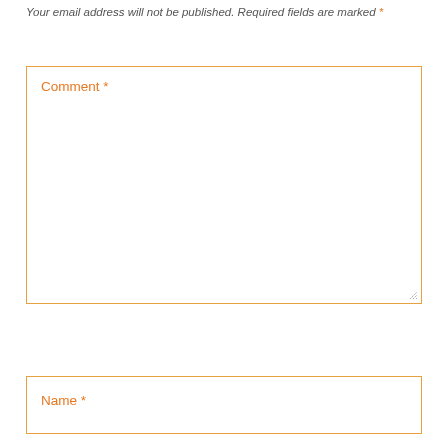Your email address will not be published. Required fields are marked *
[Figure (other): Comment text area input field with orange border and label 'Comment *']
[Figure (other): Name text input field with orange border and label 'Name *']